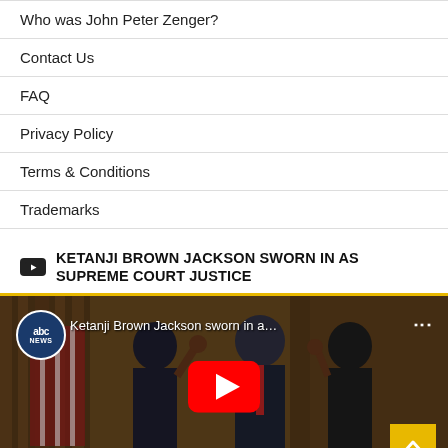Who was John Peter Zenger?
Contact Us
FAQ
Privacy Policy
Terms & Conditions
Trademarks
KETANJI BROWN JACKSON SWORN IN AS SUPREME COURT JUSTICE
[Figure (screenshot): YouTube video thumbnail showing Ketanji Brown Jackson being sworn in as Supreme Court Justice, with ABC News branding. Caption reads 'Ketanji Brown Jackson sworn in a...' with YouTube play button overlay and ABC News logo badge.]